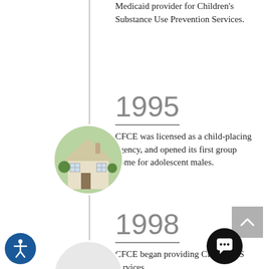Medicaid provider for Children's Substance Use Prevention Services.
1995
CFCE was licensed as a child-placing agency, and opened its first group home for adolescent males.
[Figure (photo): Circular photo of a house/building associated with the 1995 milestone]
1998
CFCE began providing CINS-FINS services